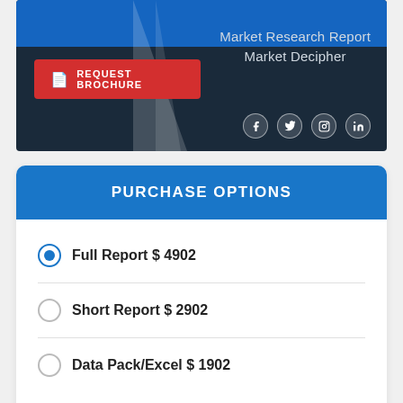[Figure (screenshot): Market Research Report banner with blue background, 'REQUEST BROCHURE' red button, 'Market Research Report Market Decipher' text, and social media icons]
PURCHASE OPTIONS
Full Report $ 4902
Short Report $ 2902
Data Pack/Excel $ 1902
BUY NOW